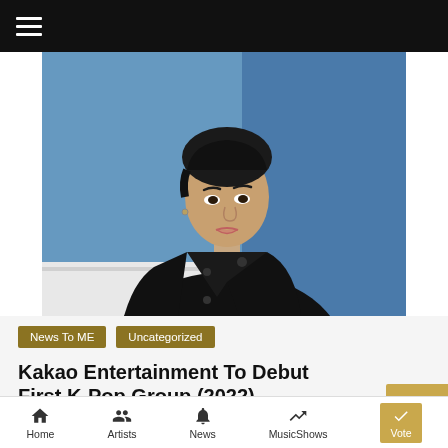≡
[Figure (photo): Young Asian male in black double-breasted jacket against blue background]
News To ME
Uncategorized
Kakao Entertainment To Debut First K-Pop Group (2022)
Home  Artists  News  MusicShows  Vote